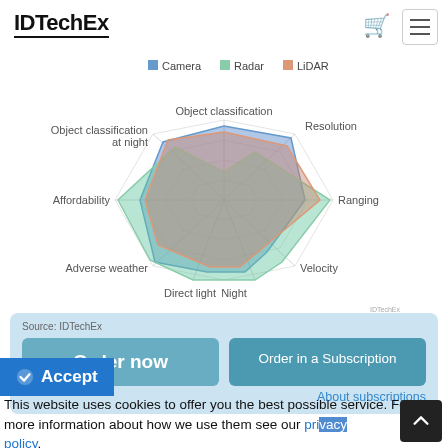IDTechEx
[Figure (radar-chart): Camera vs Radar vs LiDAR comparison]
Source: IDTechEx
Order now
Order in a Subscription
About subscriptions
Accept
This website uses cookies to offer you the best possible service. For more information about how we use them see our privacy policy.